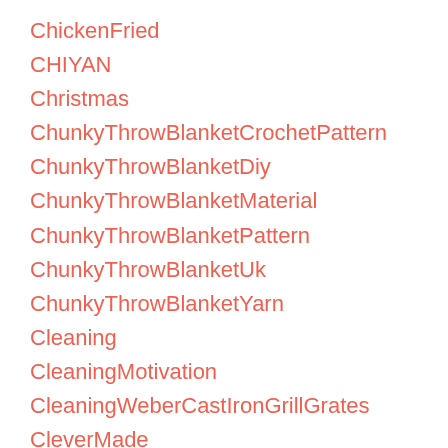ChickenFried
CHIYAN
Christmas
ChunkyThrowBlanketCrochetPattern
ChunkyThrowBlanketDiy
ChunkyThrowBlanketMaterial
ChunkyThrowBlanketPattern
ChunkyThrowBlanketUk
ChunkyThrowBlanketYarn
Cleaning
CleaningMotivation
CleaningWeberCastIronGrillGrates
CleverMade
CloseAndReopenNotesdocument